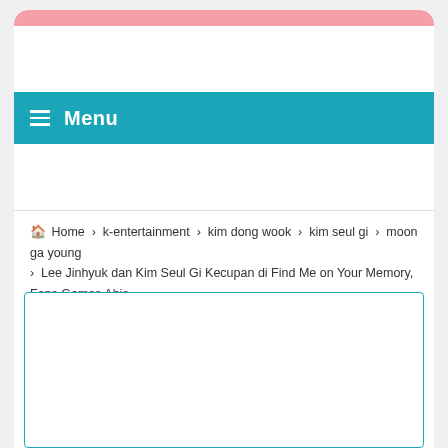Menu
🏠 Home › k-entertainment › kim dong wook › kim seul gi › moon ga young › Lee Jinhyuk dan Kim Seul Gi Kecupan di Find Me on Your Memory, Fans Gemas Abis
[Figure (other): White content box with teal/cyan top border, empty content area]